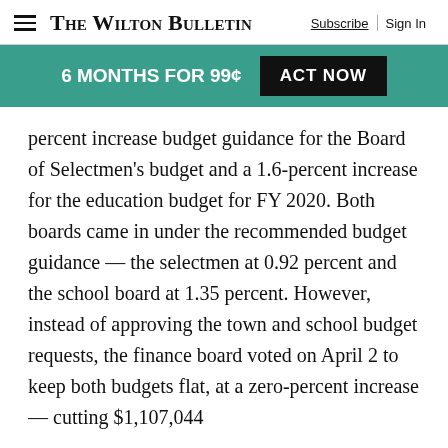The Wilton Bulletin | Subscribe | Sign In
6 MONTHS FOR 99¢  ACT NOW
percent increase budget guidance for the Board of Selectmen's budget and a 1.6-percent increase for the education budget for FY 2020. Both boards came in under the recommended budget guidance — the selectmen at 0.92 percent and the school board at 1.35 percent. However, instead of approving the town and school budget requests, the finance board voted on April 2 to keep both budgets flat, at a zero-percent increase — cutting $1,107,044